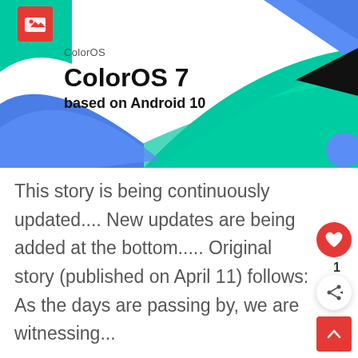[Figure (illustration): ColorOS 7 promotional banner with teal, blue, and black geometric shapes. Top-left has a red icon box with a image/gallery icon. 'ColorOS' label text below icon. Main text reads 'ColorOS 7' in bold and 'based on Android 10' below it.]
This story is being continuously updated.... New updates are being added at the bottom..... Original story (published on April 11) follows: As the days are passing by, we are witnessing...